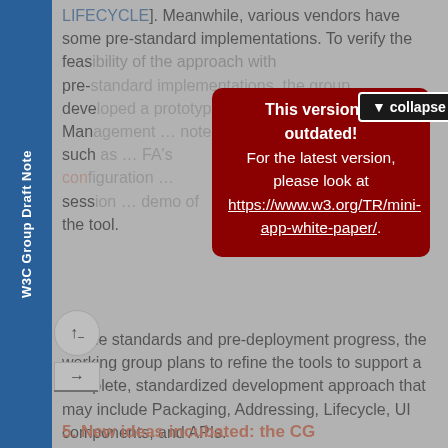W3C Group Draft Note
LIFECYCLE]. Meanwhile, various vendors have some pre-standard implementations. To verify the feasibility … with pre-… group development … standard Management … es, such … FA's community … session … demo of the tool.
[Figure (screenshot): Modal dialog overlay with dark red background showing 'This version is outdated!' message and link to https://www.w3.org/TR/mini-app-white-paper/. A collapse button appears in top right of the modal area.]
As the standards and pre-deployment progress, the working group plans to refine the tools to support a complete, standardized development approach that may include Packaging, Addressing, Lifecycle, UI components, and APIs.
5. New ideas incubated: the CG...